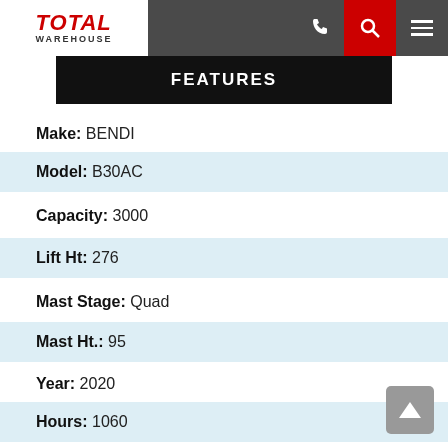[Figure (screenshot): Total Warehouse website navigation bar with logo, phone icon, search icon (red background), and menu icon]
FEATURES
Make: BENDI
Model: B30AC
Capacity: 3000
Lift Ht: 276
Mast Stage: Quad
Mast Ht.: 95
Year: 2020
Hours: 1060
Serial Number: 2004B-12443
4th Valve: Yes